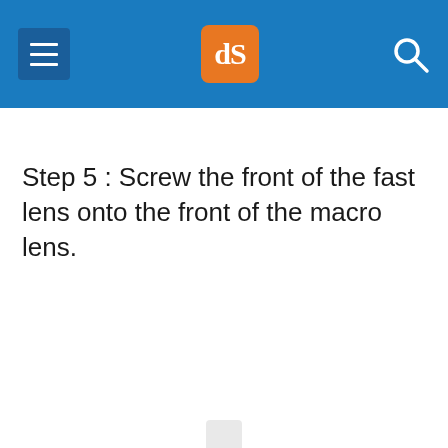dPS (digital Photography School) header with hamburger menu, logo, and search icon
Step 5 : Screw the front of the fast lens onto the front of the macro lens.